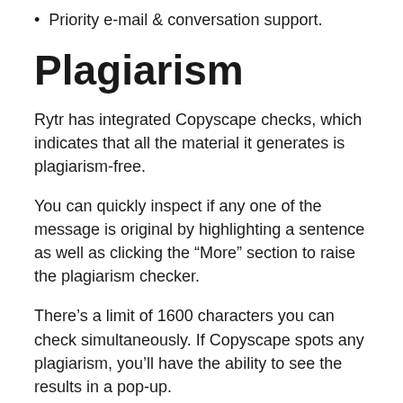Priority e-mail & conversation support.
Plagiarism
Rytr has integrated Copyscape checks, which indicates that all the material it generates is plagiarism-free.
You can quickly inspect if any one of the message is original by highlighting a sentence as well as clicking the “More” section to raise the plagiarism checker.
There’s a limit of 1600 characters you can check simultaneously. If Copyscape spots any plagiarism, you’ll have the ability to see the results in a pop-up.